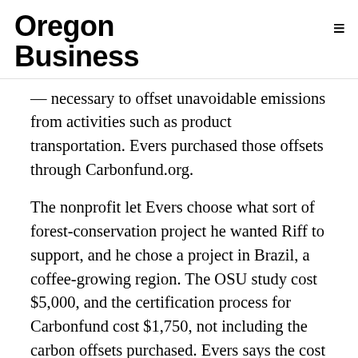Oregon Business
— necessary to offset unavoidable emissions from activities such as product transportation. Evers purchased those offsets through Carbonfund.org.
The nonprofit let Evers choose what sort of forest-conservation project he wanted Riff to support, and he chose a project in Brazil, a coffee-growing region. The OSU study cost $5,000, and the certification process for Carbonfund cost $1,750, not including the carbon offsets purchased. Evers says the cost of this year's offsets is $685; Carbonfund.org says the cost of the offsets will likely vary year to year.